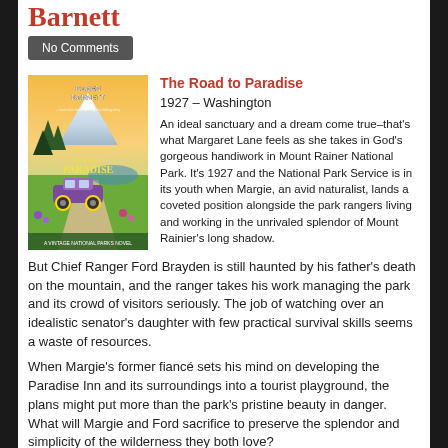Barnett
No Comments
The Road to Paradise
1927 – Washington
An ideal sanctuary and a dream come true–that's what Margaret Lane feels as she takes in God's gorgeous handiwork in Mount Rainer National Park. It's 1927 and the National Park Service is in its youth when Margie, an avid naturalist, lands a coveted position alongside the park rangers living and working in the unrivaled splendor of Mount Rainier's long shadow.
[Figure (illustration): Book cover of 'The Road to Paradise' by Karen Barnett, featuring a vintage purple automobile on a mountain road with a snow-capped mountain (likely Mount Rainier) in the background, evergreen trees, and wildflowers. Style evokes a national park vintage poster.]
But Chief Ranger Ford Brayden is still haunted by his father's death on the mountain, and the ranger takes his work managing the park and its crowd of visitors seriously. The job of watching over an idealistic senator's daughter with few practical survival skills seems a waste of resources.
When Margie's former fiancé sets his mind on developing the Paradise Inn and its surroundings into a tourist playground, the plans might put more than the park's pristine beauty in danger. What will Margie and Ford sacrifice to preserve the splendor and simplicity of the wilderness they both love?
Published in , Washington , Famous Landmarks, National Parks , 1920s , 1900-1930 (US